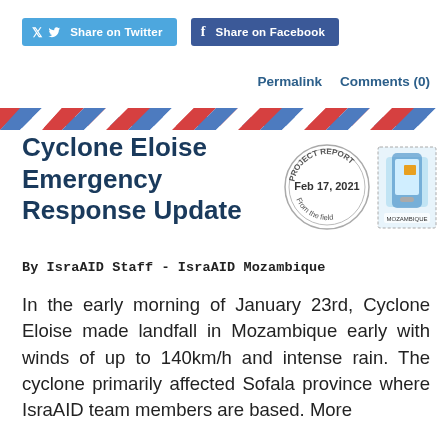[Figure (other): Twitter Share button (blue) and Facebook Share button (dark blue) at top of page]
Permalink    Comments (0)
[Figure (illustration): Airmail border stripe with red and blue diagonal chevron/triangles pattern]
Cyclone Eloise Emergency Response Update
[Figure (illustration): PROJECT REPORT From the field postmark stamp circle dated Feb 17, 2021, alongside a decorative postage stamp with phone graphic]
By IsraAID Staff - IsraAID Mozambique
In the early morning of January 23rd, Cyclone Eloise made landfall in Mozambique early with winds of up to 140km/h and intense rain. The cyclone primarily affected Sofala province where IsraAID team members are based. More